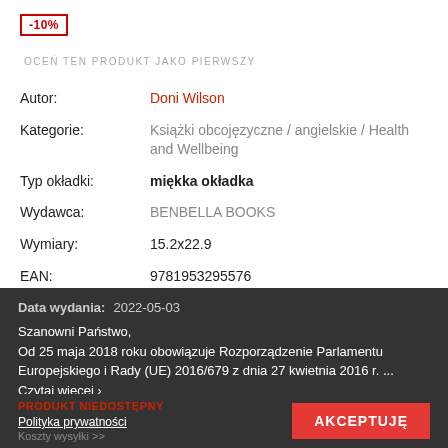-10%
OCEŃ TEN PRODUKT JAKO PIERWSZY
| Label | Value |
| --- | --- |
| Autor: | Doni Wilson |
| Kategorie: | Książki obcojęzyczne / angielskie / Health and Wellbeing |
| Typ okładki: | miękka okładka |
| Wydawca: | BENBELLA BOOKS |
| Wymiary: | 15.2x22.9 |
| EAN: | 9781953295576 |
| Ilość stron: | 288 |
| Data wydania: | 2022-05-03 |
Szanowni Państwo, Od 25 maja 2018 roku obowiązuje Rozporządzenie Parlamentu Europejskiego i Rady (UE) 2016/679 z dnia 27 kwietnia 2016 r. ... Czytaj więcej >
Dostępność:
PRODUKT NIEDOSTĘPNY
Polityka prywatności
AKCEPTUJĘ